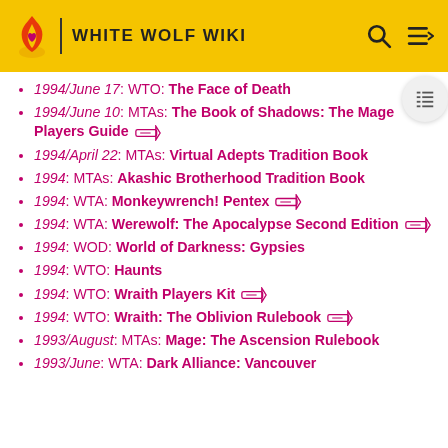WHITE WOLF WIKI
1994/June 17: WTO: The Face of Death
1994/June 10: MTAs: The Book of Shadows: The Mage Players Guide
1994/April 22: MTAs: Virtual Adepts Tradition Book
1994: MTAs: Akashic Brotherhood Tradition Book
1994: WTA: Monkeywrench! Pentex
1994: WTA: Werewolf: The Apocalypse Second Edition
1994: WOD: World of Darkness: Gypsies
1994: WTO: Haunts
1994: WTO: Wraith Players Kit
1994: WTO: Wraith: The Oblivion Rulebook
1993/August: MTAs: Mage: The Ascension Rulebook
1993/June: WTA: Dark Alliance: Vancouver